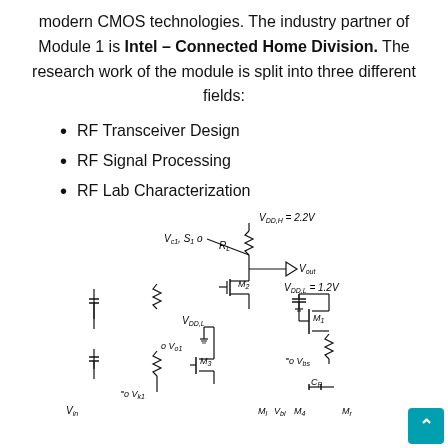modern CMOS technologies. The industry partner of Module 1 is Intel – Connected Home Division. The research work of the module is split into three different fields:
RF Transceiver Design
RF Signal Processing
RF Lab Characterization
[Figure (circuit-diagram): Electronic circuit schematic showing a multi-transistor RF circuit with components including resistors, capacitors, MOSFET transistors M1-M4, and voltage sources VDD,H=2.2V, VDD,L=1.2V, voltage nodes Vc1/S1, Vo1, Vk1, Vbs, Vin, Vout, and capacitor Cp.]